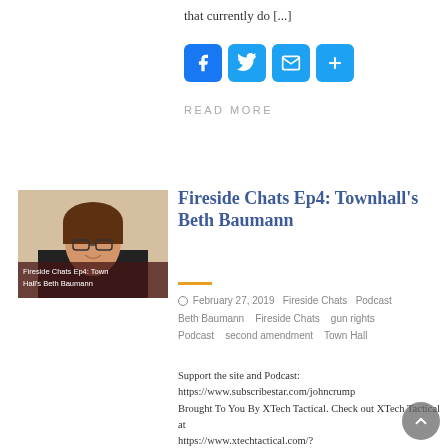that currently do [...]
[Figure (infographic): Social share buttons: Facebook, Twitter, Mail, and a plus/more button, all in blue rounded squares]
READ MORE
[Figure (photo): Thumbnail image of a woman with glasses and brown hair, with overlay text: Fireside Chats Ep4: Town Hall's Beth Baumann]
Fireside Chats Ep4: Townhall's Beth Baumann
February 27, 2019   Fireside Chats   Podcast
Beth Baumann   Fireside Chats   gun rights
Podcast   second amendment   Town Hall
Support the site and Podcast:
https://www.subscribestar.com/johncrump
Brought To You By XTech Tactical. Check out XTech Tactical at
https://www.xtechtactical.com/?